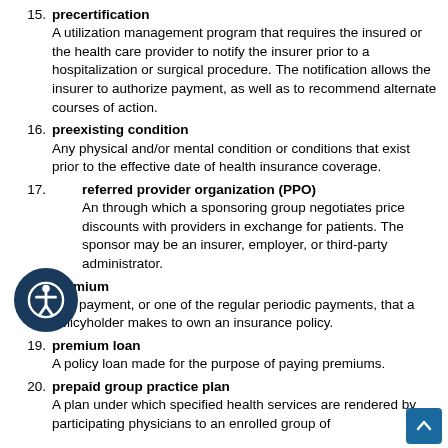15. precertification
A utilization management program that requires the insured or the health care provider to notify the insurer prior to a hospitalization or surgical procedure. The notification allows the insurer to authorize payment, as well as to recommend alternate courses of action.
16. preexisting condition
Any physical and/or mental condition or conditions that exist prior to the effective date of health insurance coverage.
17. preferred provider organization (PPO)
A plan through which a sponsoring group negotiates price discounts with providers in exchange for patients. The sponsor may be an insurer, employer, or third-party administrator.
18. premium
The payment, or one of the regular periodic payments, that a policyholder makes to own an insurance policy.
19. premium loan
A policy loan made for the purpose of paying premiums.
20. prepaid group practice plan
A plan under which specified health services are rendered by participating physicians to an enrolled group of